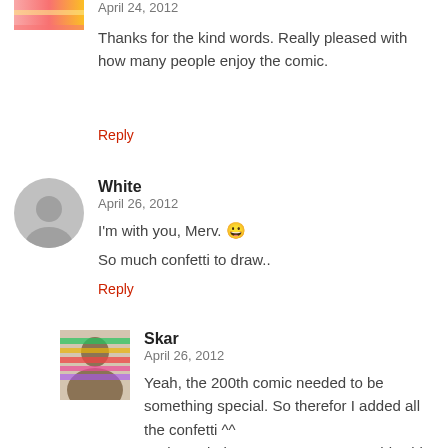[Figure (photo): Partial avatar image at top, cropped]
April 24, 2012
Thanks for the kind words. Really pleased with how many people enjoy the comic.
Reply
[Figure (photo): Gray silhouette avatar for user White]
White
April 26, 2012
I'm with you, Merv. 😀
So much confetti to draw..
Reply
[Figure (photo): Photo avatar for user Skar with colorful horizontal stripes overlay]
Skar
April 26, 2012
Yeah, the 200th comic needed to be something special. So therefor I added all the confetti ^^ And I'm glad Merv got someone on his side 🙂